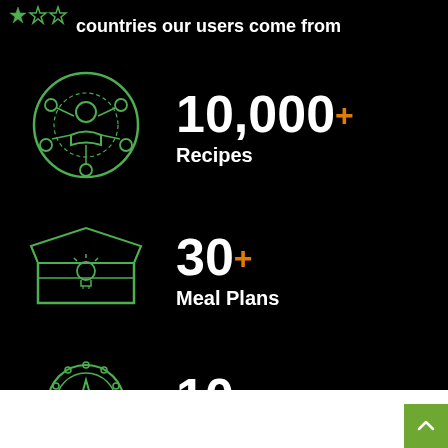countries our users come from
[Figure (illustration): Green network/community icon with connected nodes]
10,000+ Recipes
[Figure (illustration): Green open box with lightbulb icon]
30+ Meal Plans
[Figure (illustration): Green medal/badge with star icon]
10+ Products